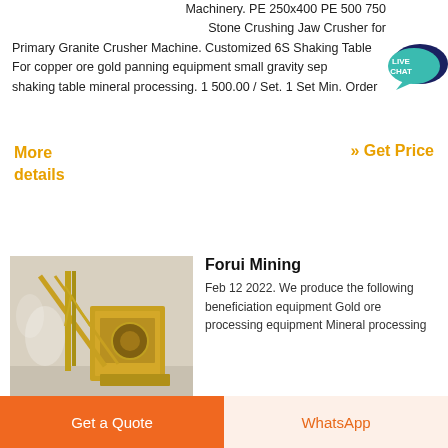Machinery. PE 250x400 PE 500 750 Stone Crushing Jaw Crusher for Primary Granite Crusher Machine. Customized 6S Shaking Table For copper ore gold panning equipment small gravity separator shaking table mineral processing. 1 500.00 / Set. 1 Set Min. Order
[Figure (other): Live chat speech bubble icon in teal/dark blue]
More details
» Get Price
[Figure (photo): Yellow mining/crushing machinery equipment with conveyor belt structure]
Forui Mining
Feb 12 2022. We produce the following beneficiation equipment Gold ore processing equipment Mineral processing equipment Crushing and...
Get a Quote
WhatsApp